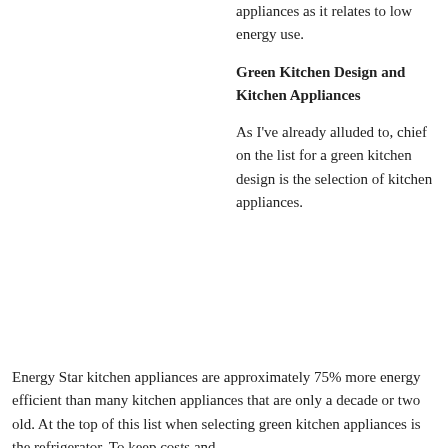appliances as it relates to low energy use.
Green Kitchen Design and Kitchen Appliances
As I've already alluded to, chief on the list for a green kitchen design is the selection of kitchen appliances.
Energy Star kitchen appliances are approximately 75% more energy efficient than many kitchen appliances that are only a decade or two old. At the top of this list when selecting green kitchen appliances is the refrigerator. To keep costs and